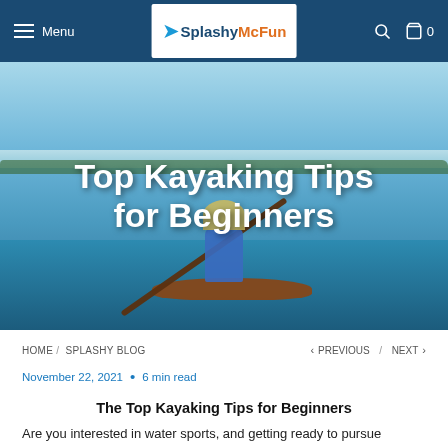Menu | Splashy McFun | Search | Cart 0
[Figure (photo): Hero image of a person kayaking on a calm lake with blue sky and treeline in the background. White text overlay reads 'Top Kayaking Tips for Beginners'.]
Top Kayaking Tips for Beginners
HOME / SPLASHY BLOG    < PREVIOUS / NEXT >
November 22, 2021  •  6 min read
The Top Kayaking Tips for Beginners
Are you interested in water sports, and getting ready to pursue kayaking?